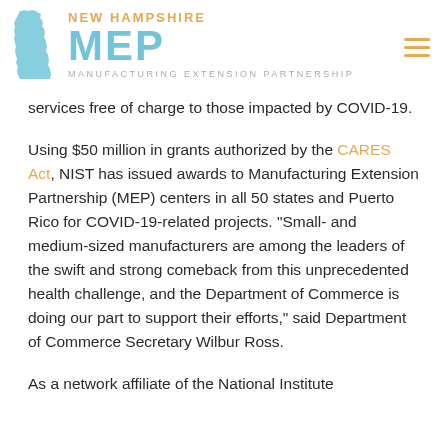NEW HAMPSHIRE MEP MANUFACTURING EXTENSION PARTNERSHIP
services free of charge to those impacted by COVID-19.
Using $50 million in grants authorized by the CARES Act, NIST has issued awards to Manufacturing Extension Partnership (MEP) centers in all 50 states and Puerto Rico for COVID-19-related projects. “Small- and medium-sized manufacturers are among the leaders of the swift and strong comeback from this unprecedented health challenge, and the Department of Commerce is doing our part to support their efforts,” said Department of Commerce Secretary Wilbur Ross.
As a network affiliate of the National Institute